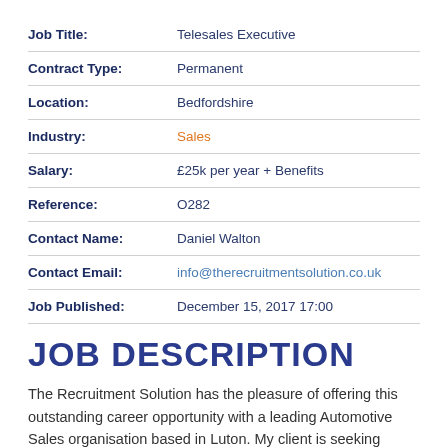| Job Title: | Telesales Executive |
| Contract Type: | Permanent |
| Location: | Bedfordshire |
| Industry: | Sales |
| Salary: | £25k per year + Benefits |
| Reference: | O282 |
| Contact Name: | Daniel Walton |
| Contact Email: | info@therecruitmentsolution.co.uk |
| Job Published: | December 15, 2017 17:00 |
JOB DESCRIPTION
The Recruitment Solution has the pleasure of offering this outstanding career opportunity with a leading Automotive Sales organisation based in Luton. My client is seeking